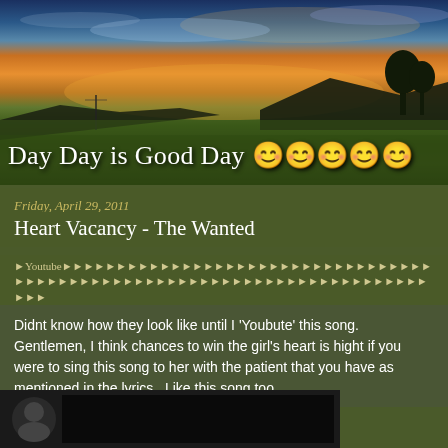[Figure (photo): Landscape photo showing green wheat field with dramatic sunset sky, silhouetted trees and power lines on the horizon. Blog header image.]
Day Day is Good Day 好好每一天
Friday, April 29, 2011
Heart Vacancy - The Wanted
★Youtube★★★★★★★★★★★★★★★★★★★★★★★★★★★★★★★★★★★★★★★★★★★★★★★★★★★★★★★★★
Didnt know how they look like until I 'Youbute' this song. Gentlemen, I think chances to win the girl's heart is hight if you were to sing this song to her with the patient that you have as mentioned in the lyrics...Like this song too...
[Figure (screenshot): Video thumbnail showing dark background with circular avatar/profile image on left side, appears to be a YouTube video embed.]